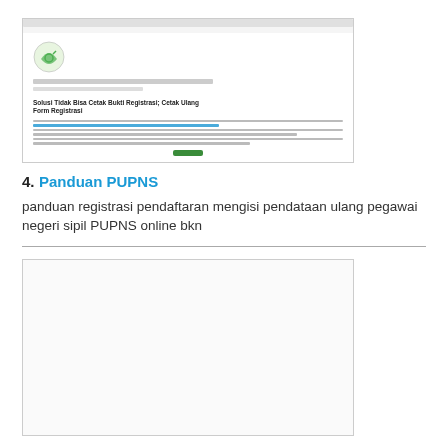[Figure (screenshot): Screenshot of a PUPNS website page showing a logo, navigation bar, breadcrumb, article title 'Solusi Tidak Bisa Cetak Bukti Registrasi; Cetak Ulang Form Registrasi', body text, and a green button.]
4. Panduan PUPNS
panduan registrasi pendaftaran mengisi pendataan ulang pegawai negeri sipil PUPNS online bkn
[Figure (screenshot): Blank/mostly empty screenshot thumbnail.]
5. radualinbalaj